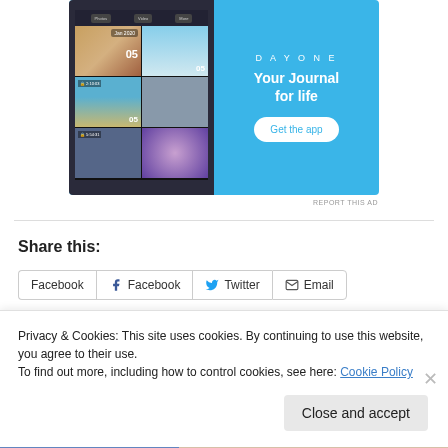[Figure (screenshot): DayOne app advertisement showing a smartphone with photo journal grid on the left, and 'DAYONE Your Journal for life' text with a 'Get the app' button on a blue background on the right.]
REPORT THIS AD
Share this:
Facebook
Facebook
Twitter
Email
Privacy & Cookies: This site uses cookies. By continuing to use this website, you agree to their use.
To find out more, including how to control cookies, see here: Cookie Policy
Close and accept